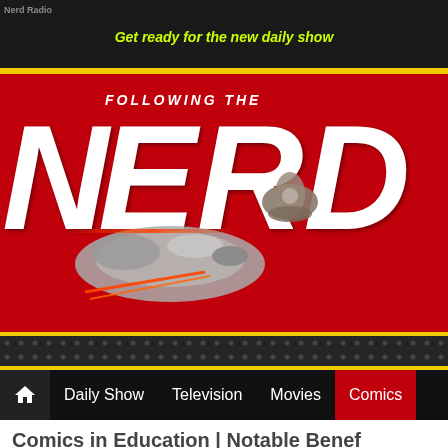Nerd Radio
Get ready for the new daily show
[Figure (logo): Following the Nerd logo — large white bold italic NERD text on red background with Millennium Falcon and Boba Fett's Slave I spaceship imagery]
Daily Show | Television | Movies | Comics
Comics in Education | Notable Benefits
February 10th, 2021 by Marc 0 Comments